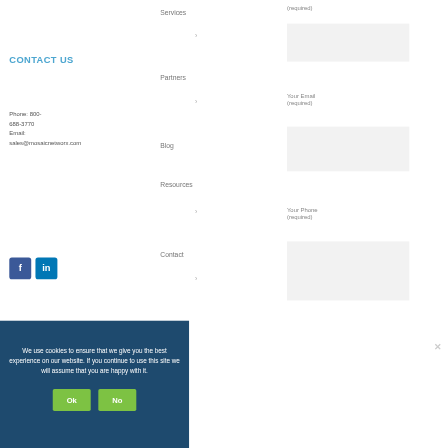Services
Partners
Blog
Resources
Contact
CONTACT US
Phone: 800-688-3770
Email: sales@mosaicnetworx.com
[Figure (logo): Facebook and LinkedIn social media icon buttons]
(required)
Your Email (required)
Your Phone (required)
We use cookies to ensure that we give you the best experience on our website. If you continue to use this site we will assume that you are happy with it.